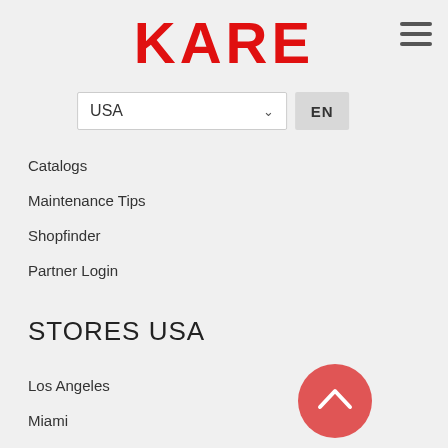KARE
USA  EN
Catalogs
Maintenance Tips
Shopfinder
Partner Login
STORES USA
Los Angeles
Miami
COMPANY
Press
About Us
Jobs
Franchise